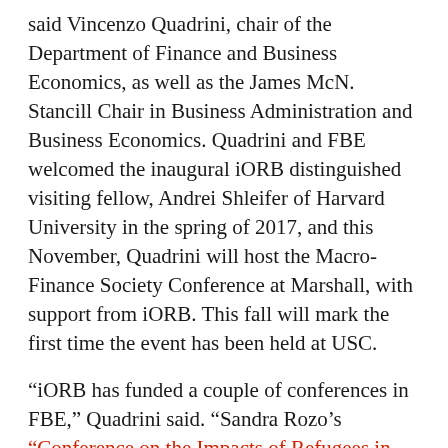said Vincenzo Quadrini, chair of the Department of Finance and Business Economics, as well as the James McN. Stancill Chair in Business Administration and Business Economics. Quadrini and FBE welcomed the inaugural iORB distinguished visiting fellow, Andrei Shleifer of Harvard University in the spring of 2017, and this November, Quadrini will host the Macro-Finance Society Conference at Marshall, with support from iORB. This fall will mark the first time the event has been held at USC.
“iORB has funded a couple of conferences in FBE,” Quadrini said. “Sandra Rozo’s “Conference on the Impacts of Refugees in Hosting Economies” was a big success, and she did it herself, not with senior faculty but with support from iORB.”
According to Quadrini, “The most important support iORB provides is for conferences.